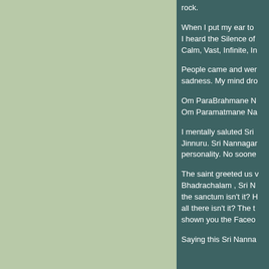rock.
When I put my ear to I heard the Silence of Calm, Vast, Infinite, In
People came and wer sadness. My mind dro
Om ParaBrahmane N Om Paramatmane Na
I mentally saluted Sri Jinnuru. Sri Nannagar personality. No soone
The saint greeted us Bhadrachalam , Sri N the sanctum isn't it? H all there isn't it? The t shown you the Faceo
Saying this Sri Nanna